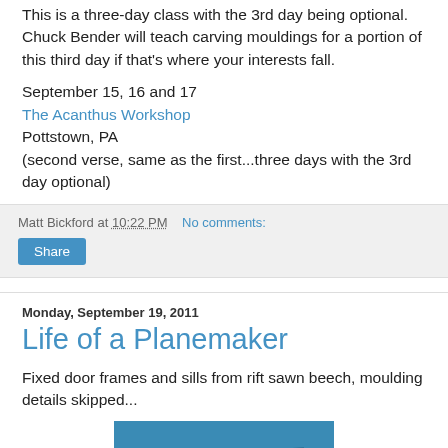This is a three-day class with the 3rd day being optional. Chuck Bender will teach carving mouldings for a portion of this third day if that's where your interests fall.
September 15, 16 and 17
The Acanthus Workshop
Pottstown, PA
(second verse, same as the first...three days with the 3rd day optional)
Matt Bickford at 10:22 PM   No comments:
Share
Monday, September 19, 2011
Life of a Planemaker
Fixed door frames and sills from rift sawn beech, moulding details skipped...
[Figure (photo): Partial view of a photo showing what appears to be a piece of wood or tool on a blue background]